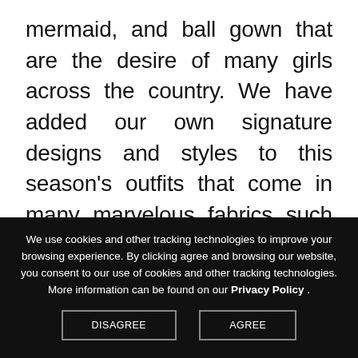mermaid, and ball gown that are the desire of many girls across the country. We have added our own signature designs and styles to this season's outfits that come in many marvelous fabrics such as hand beaded tulle, sequins, glitter tulle,and lycra jersey. Prom is one of the most magical nights in a girl's high school career, sometimes one of the most enchanted evenings in her life. The designers at RACHEL ALLAN understand what goes into preparing for such a memorable night. Our Prom Dresses 2021 collection offers an envisioned mermaid
We use cookies and other tracking technologies to improve your browsing experience. By clicking agree and browsing our website, you consent to our use of cookies and other tracking technologies. More information can be found on our Privacy Policy .